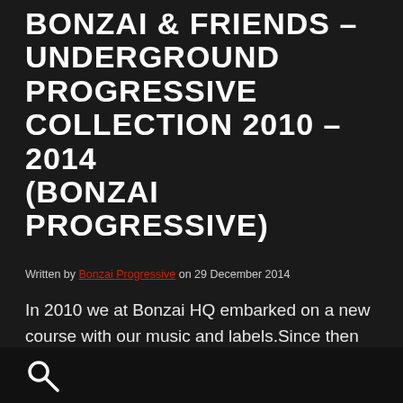BONZAI & FRIENDS – UNDERGROUND PROGRESSIVE COLLECTION 2010 – 2014 (BONZAI PROGRESSIVE)
Written by Bonzai Progressive on 29 December 2014
In 2010 we at Bonzai HQ embarked on a new course with our music and labels.Since then we have been able to work with so many fantastic artists, legends and fresh faces alike. We know now as we knew then that this new course was the right one as our ever growing list of quality [...]